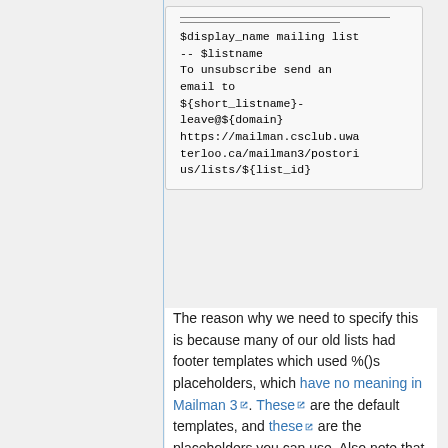$display_name mailing list
-- $listname
To unsubscribe send an email to ${short_listname}-leave@${domain}
https://mailman.csclub.uwaterloo.ca/mailman3/postorius/lists/${list_id}
The reason why we need to specify this is because many of our old lists had footer templates which used %()s placeholders, which have no meaning in Mailman 3. These are the default templates, and these are the placeholders you can use. Also note that you can have domain-wide templates and per-list templates.